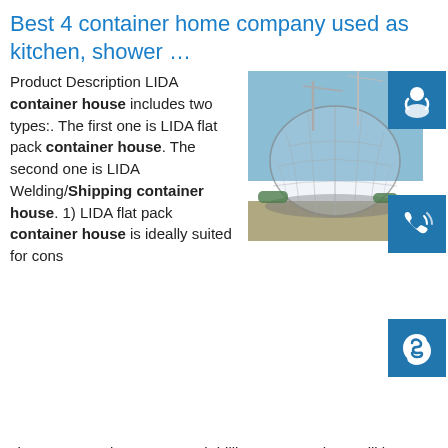Best 4 container home company used as kitchen, shower …
Product Description LIDA container house includes two types:. The first one is LIDA flat pack container house. The second one is LIDA Welding/Shipping container house. 1) LIDA flat pack container house is ideally suited for construction sites, construction camps and drilling camps, where will be advantageously turned into offices, living accommodations, changing rooms and toilet facilities.sp.info container homes 40ft | Gumtree Australia Free Local ...Brand New 40ft and a 20ft Custom Design Portable Shipping Container Expandable Homes - located on the Mid North Coast near Nabiac. Contact Kim "The Container Home Lady" on to arrange an inspection.
[Figure (photo): Construction site with a dome-shaped building under construction and cranes in the background]
[Figure (infographic): Three blue icon buttons: customer support, phone, and Skype]